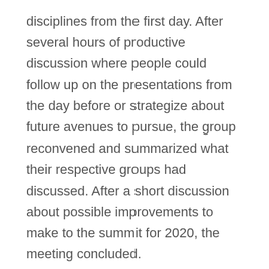disciplines from the first day. After several hours of productive discussion where people could follow up on the presentations from the day before or strategize about future avenues to pursue, the group reconvened and summarized what their respective groups had discussed. After a short discussion about possible improvements to make to the summit for 2020, the meeting concluded.
This meeting was a fantastic opportunity for disparate organizations to coordinate their efforts to control this pest in the most efficient way possible. This sharing of ideas and strategies will allow for those who are working towards managing